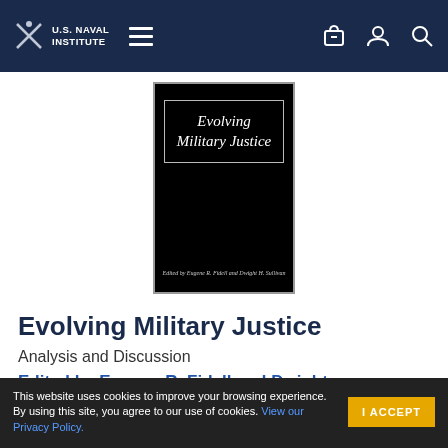U.S. Naval Institute navigation bar
[Figure (photo): Book cover of 'Evolving Military Justice' — black cover with white bordered rectangle containing the title in italic serif font, and author names at the bottom: Edited by Eugene R. Fidell and Dwight H. Sullivan]
Evolving Military Justice
Analysis and Discussion
Edited by Eugene R. Fidell and Dwight
This website uses cookies to improve your browsing experience. By using this site, you agree to our use of cookies. View our Privacy Policy.